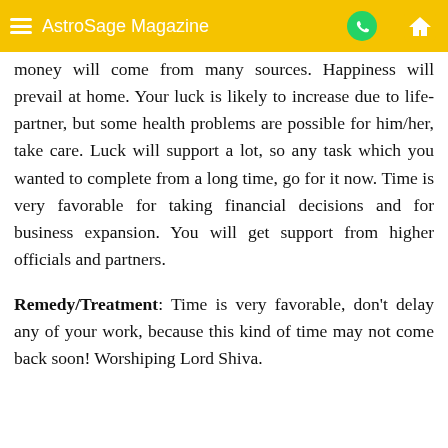AstroSage Magazine
money will come from many sources. Happiness will prevail at home. Your luck is likely to increase due to life-partner, but some health problems are possible for him/her, take care. Luck will support a lot, so any task which you wanted to complete from a long time, go for it now. Time is very favorable for taking financial decisions and for business expansion. You will get support from higher officials and partners.
Remedy/Treatment: Time is very favorable, don't delay any of your work, because this kind of time may not come back soon! Worshiping Lord Shiva.